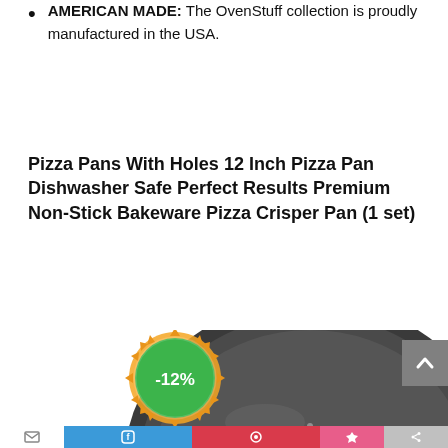AMERICAN MADE: The OvenStuff collection is proudly manufactured in the USA.
Pizza Pans With Holes 12 Inch Pizza Pan Dishwasher Safe Perfect Results Premium Non-Stick Bakeware Pizza Crisper Pan (1 set)
[Figure (photo): Pizza pan product image showing a dark non-stick round pizza pan with holes, partially visible, with a green and orange -12% discount badge overlaid in the lower left area of the image. A gray scroll-to-top button appears in the upper right. A social sharing bar runs across the bottom.]